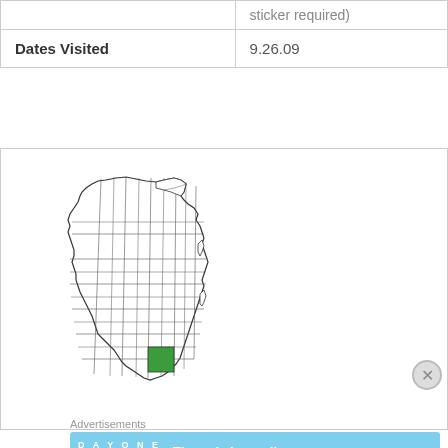|  |  |
| --- | --- |
|  | sticker required) |
| Dates Visited | 9.26.09 |
[Figure (map): Map of Wisconsin with counties outlined. One county in the south-central area highlighted in green.]
Advertisements
[Figure (other): Advertisement banner for DAY ONE journaling app with text: The only journaling app you'll ever need.]